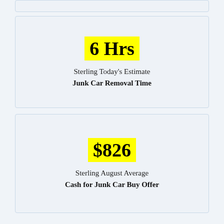6 Hrs
Sterling Today's Estimate
Junk Car Removal Time
$826
Sterling August Average
Cash for Junk Car Buy Offer